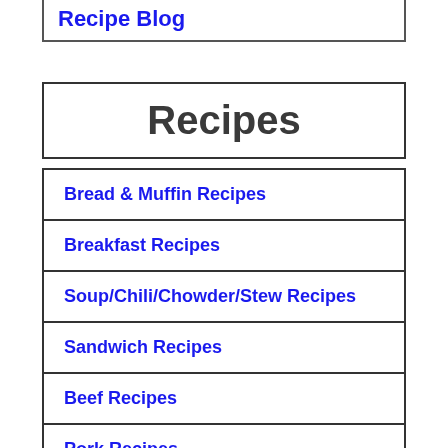Recipe Blog
Recipes
Bread & Muffin Recipes
Breakfast Recipes
Soup/Chili/Chowder/Stew Recipes
Sandwich Recipes
Beef Recipes
Pork Recipes